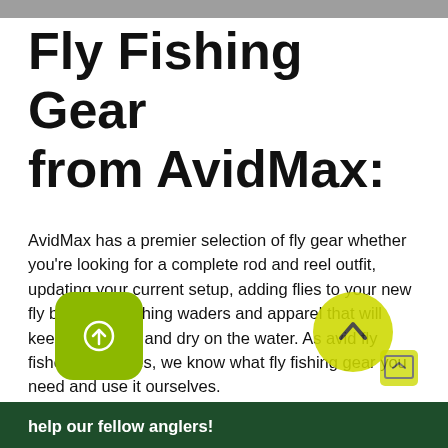Fly Fishing Gear from AvidMax:
AvidMax has a premier selection of fly gear whether you're looking for a complete rod and reel outfit, updating your current setup, adding flies to your new fly box, or fly fishing waders and apparel that will keep you warm and dry on the water. As avid fly fishers ourselves, we know what fly fishing gear you need and use it ourselves.
Our staff of experienced anglers ensures that AvidMax has high-quality and reasonably priced products for sale. Whether you're a beginner to the sport or an expert angler, you can trust our passion and our mission for all of your equipment needs. For questions, give us a call at 866-454-5523. We're always happy to help our fellow anglers!